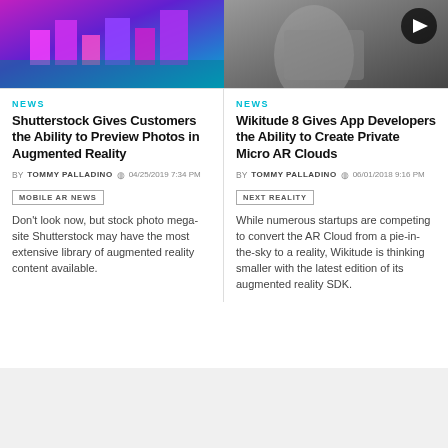[Figure (photo): Top-left: colorful AR city illustration with purple and cyan tones]
[Figure (photo): Top-right: dark photo with a play button overlay, person using a device]
NEWS
Shutterstock Gives Customers the Ability to Preview Photos in Augmented Reality
BY TOMMY PALLADINO  04/25/2019 7:34 PM
MOBILE AR NEWS
Don't look now, but stock photo mega-site Shutterstock may have the most extensive library of augmented reality content available.
NEWS
Wikitude 8 Gives App Developers the Ability to Create Private Micro AR Clouds
BY TOMMY PALLADINO  06/01/2018 9:16 PM
NEXT REALITY
While numerous startups are competing to convert the AR Cloud from a pie-in-the-sky to a reality, Wikitude is thinking smaller with the latest edition of its augmented reality SDK.